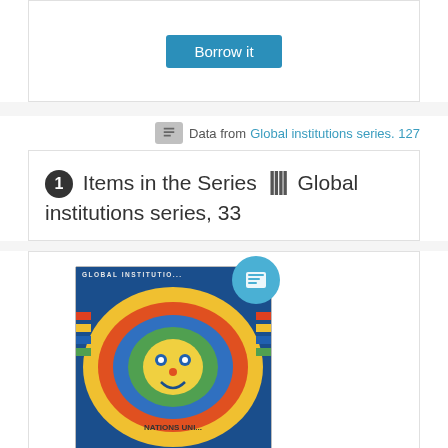[Figure (other): Borrow it button at the top of the page]
Data from Global institutions series. 127
1 Items in the Series ||| Global institutions series, 33
[Figure (photo): Book cover of The United Nations and Human Rights with colorful abstract face artwork]
The United Nations and human rights : a guide for a new
[Figure (other): Borrow it button at the bottom]